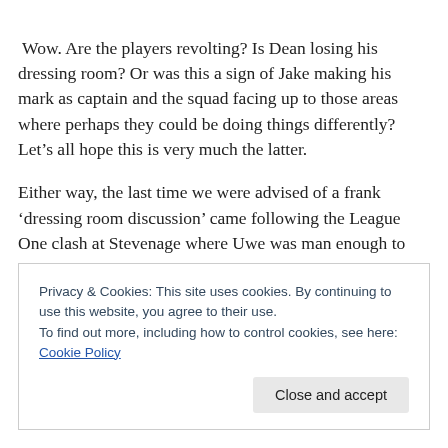Wow. Are the players revolting? Is Dean losing his dressing room? Or was this a sign of Jake making his mark as captain and the squad facing up to those areas where perhaps they could be doing things differently? Let’s all hope this is very much the latter.
Either way, the last time we were advised of a frank ‘dressing room discussion’ came following the League One clash at Stevenage where Uwe was man enough to listen to his players and then tell all to Billy (Reeves, not Grant).
Privacy & Cookies: This site uses cookies. By continuing to use this website, you agree to their use.
To find out more, including how to control cookies, see here: Cookie Policy